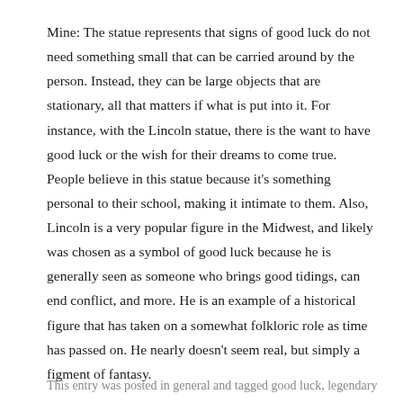Mine: The statue represents that signs of good luck do not need something small that can be carried around by the person. Instead, they can be large objects that are stationary, all that matters if what is put into it. For instance, with the Lincoln statue, there is the want to have good luck or the wish for their dreams to come true. People believe in this statue because it's something personal to their school, making it intimate to them. Also, Lincoln is a very popular figure in the Midwest, and likely was chosen as a symbol of good luck because he is generally seen as someone who brings good tidings, can end conflict, and more. He is an example of a historical figure that has taken on a somewhat folkloric role as time has passed on. He nearly doesn't seem real, but simply a figment of fantasy.
This entry was posted in general and tagged good luck, legendary